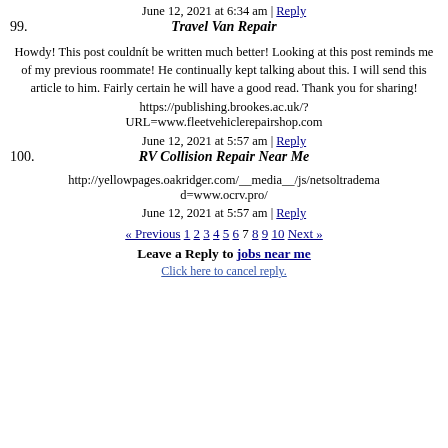June 12, 2021 at 6:34 am | Reply
99. Travel Van Repair
Howdy! This post couldnít be written much better! Looking at this post reminds me of my previous roommate! He continually kept talking about this. I will send this article to him. Fairly certain he will have a good read. Thank you for sharing!
https://publishing.brookes.ac.uk/?URL=www.fleetvehiclerepairshop.com
June 12, 2021 at 5:57 am | Reply
100. RV Collision Repair Near Me
http://yellowpages.oakridger.com/__media__/js/netsoltradema d=www.ocrv.pro/
June 12, 2021 at 5:57 am | Reply
« Previous 1 2 3 4 5 6 7 8 9 10 Next »
Leave a Reply to jobs near me
Click here to cancel reply.